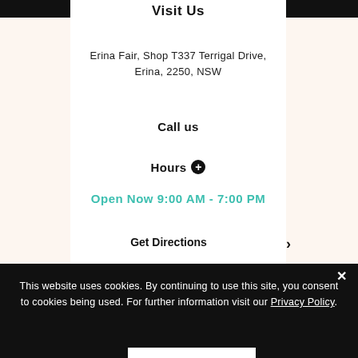Visit Us
Erina Fair, Shop T337 Terrigal Drive, Erina, 2250, NSW
Call us
Hours ⊕
Open Now 9:00 AM - 7:00 PM
Get Directions
This website uses cookies. By continuing to use this site, you consent to cookies being used. For further information visit our Privacy Policy.
ACCEPT